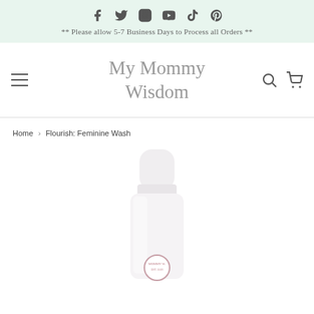[Figure (other): Social media icons row: Facebook, Twitter, Instagram, YouTube, TikTok, Pinterest]
** Please allow 5-7 Business Days to Process all Orders **
My Mommy Wisdom
Home › Flourish: Feminine Wash
[Figure (photo): Product photo of a white foam pump bottle labeled Flourish: Feminine Wash by My Mommy Wisdom, with a circular logo at the bottom, shown cropped from above mid-bottle]